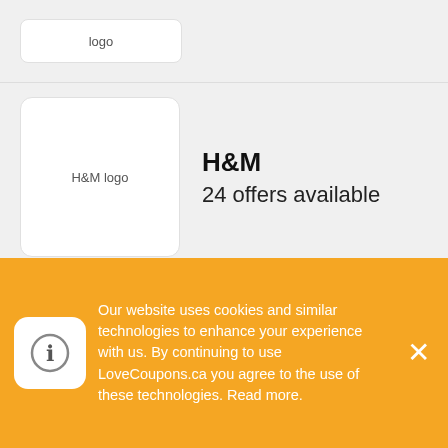[Figure (logo): Partial logo card at top (scrolled off), showing only bottom of a logo box]
H&M
24 offers available
Papa Johns
10 offers available
Bath & Body Works
8 offers available
Our website uses cookies and similar technologies to enhance your experience with us. By continuing to use LoveCoupons.ca you agree to the use of these technologies. Read more.